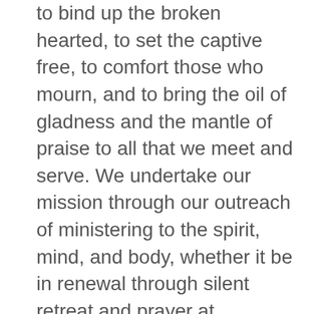to bind up the broken hearted, to set the captive free, to comfort those who mourn, and to bring the oil of gladness and the mantle of praise to all that we meet and serve. We undertake our mission through our outreach of ministering to the spirit, mind, and body, whether it be in renewal through silent retreat and prayer at WaterBrooks, through encouraging those with deafness and other physical challenges at Kennels of Levi, or through meeting the needs of our brothers and sisters among the homeless with Operation Silent Night. We strive to fulfill